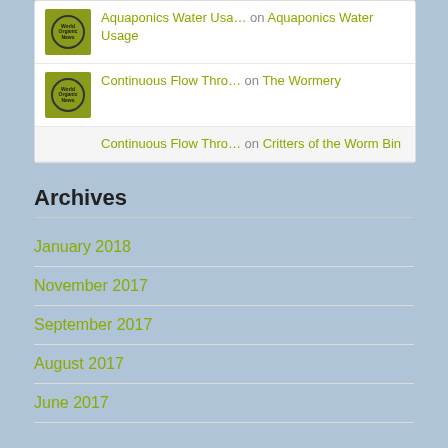Aquaponics Water Usa… on Aquaponics Water Usage
Continuous Flow Thro… on The Wormery
Continuous Flow Thro… on Critters of the Worm Bin
Archives
January 2018
November 2017
September 2017
August 2017
June 2017